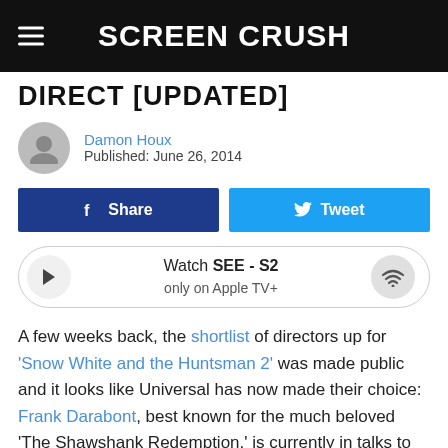Screen Crush
DIRECT [UPDATED]
Damon Houx
Published: June 26, 2014
[Figure (other): Facebook Share button and Twitter Tweet button]
[Figure (other): Media player widget: Watch SEE - S2 only on Apple TV+]
A few weeks back, the shortlist of directors up for 'Snow White and the Huntsman 2' was made public and it looks like Universal has now made their choice: Frank Darabont, best known for the much beloved 'The Shawshank Redemption,' is currently in talks to helm the film.
This comes from Deadline, and that means Darabont beat